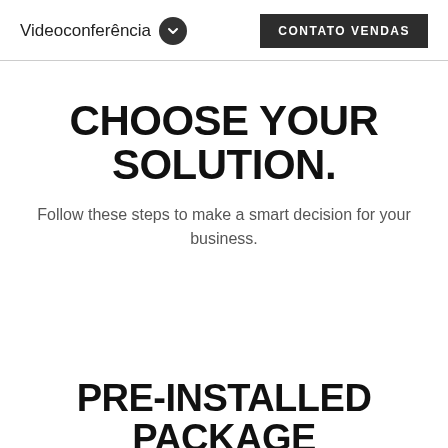Videoconferência    CONTATO VENDAS
CHOOSE YOUR SOLUTION.
Follow these steps to make a smart decision for your business.
PRE-INSTALLED PACKAGE
Pre-installed, pre-configured...